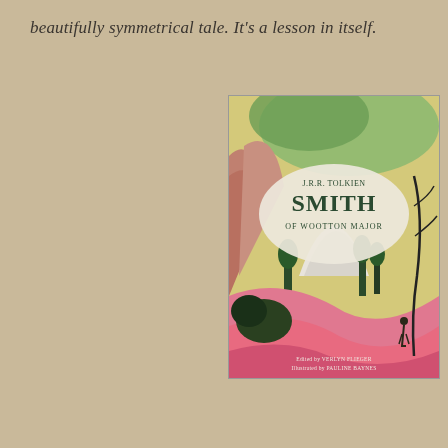beautifully symmetrical tale. It’s a lesson in itself.
[Figure (photo): Book cover of 'Smith of Wootton Major' by J.R.R. Tolkien. Illustrated cover showing a fantasy landscape with mountains, trees, pink swirling terrain and a small figure. Text reads: J.R.R. TOLKIEN / SMITH / OF WOOTTON MAJOR / Edited by VERLYN FLIEGER / Illustrated by PAULINE BAYNES]
[Figure (photo): Broken image placeholder icon in bottom left area]